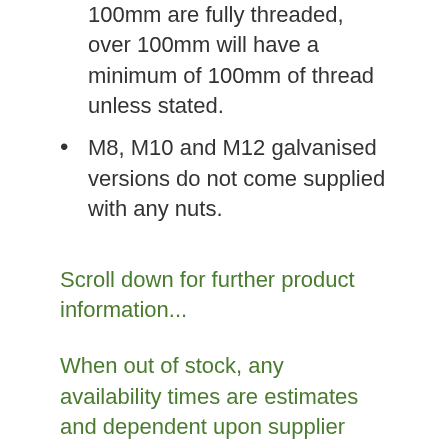Coach bolts upto 100mm are fully threaded, over 100mm will have a minimum of 100mm of thread unless stated.
M8, M10 and M12 galvanised versions do not come supplied with any nuts.
Scroll down for further product information...
When out of stock, any availability times are estimates and dependent upon supplier stock. Items without a lead time have no confirmed status and may take up to 12